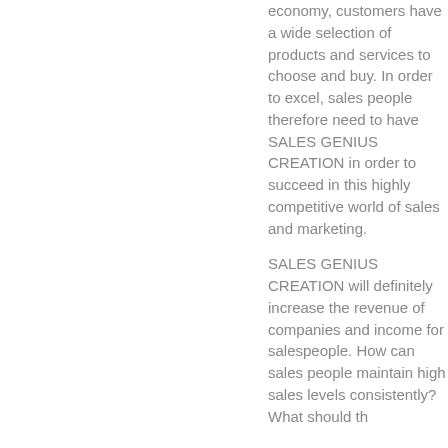economy, customers have a wide selection of products and services to choose and buy. In order to excel, sales people therefore need to have SALES GENIUS CREATION in order to succeed in this highly competitive world of sales and marketing.
SALES GENIUS CREATION will definitely increase the revenue of companies and income for salespeople. How can sales people maintain high sales levels consistently? What should th...